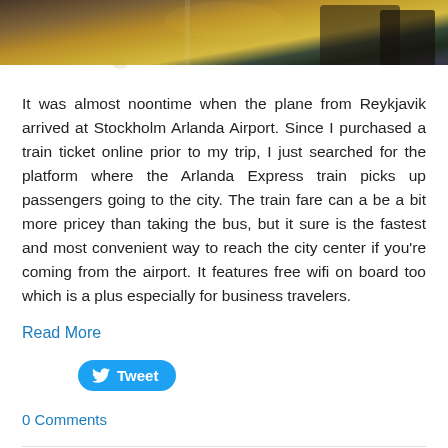[Figure (photo): Partial photo showing luggage/bags on a wooden surface, cropped at the top of the page]
It was almost noontime when the plane from Reykjavik arrived at Stockholm Arlanda Airport. Since I purchased a train ticket online prior to my trip, I just searched for the platform where the Arlanda Express train picks up passengers going to the city. The train fare can a be a bit more pricey than taking the bus, but it sure is the fastest and most convenient way to reach the city center if you're coming from the airport. It features free wifi on board too which is a plus especially for business travelers.
Read More
[Figure (other): Tweet button with Twitter bird icon]
0 Comments
Golden Circle Tour with Reykjavik Excursions: Gulfoss, Geysir, and Thingvellir
8/31/2017
0 Comments